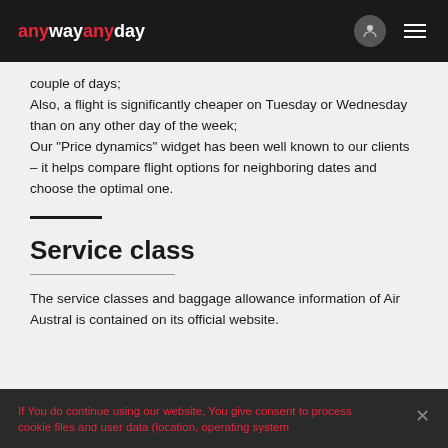anywayanyday
couple of days;
Also, a flight is significantly cheaper on Tuesday or Wednesday than on any other day of the week;
Our "Price dynamics" widget has been well known to our clients – it helps compare flight options for neighboring dates and choose the optimal one.
Service class
The service classes and baggage allowance information of Air Austral is contained on its official website.
If You do continue using our website, You give consent to process cookie files and user data (location, operating system